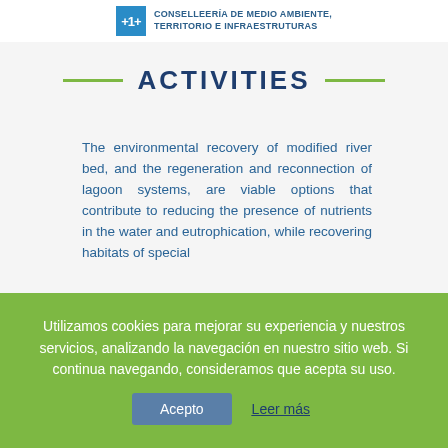CONSELLEERÍA DE MEDIO AMBIENTE, TERRITORIO E INFRAESTRUTURAS
ACTIVITIES
The environmental recovery of modified river bed, and the regeneration and reconnection of lagoon systems, are viable options that contribute to reducing the presence of nutrients in the water and eutrophication, while recovering habitats of special
Utilizamos cookies para mejorar su experiencia y nuestros servicios, analizando la navegación en nuestro sitio web. Si continua navegando, consideramos que acepta su uso.
Acepto   Leer más